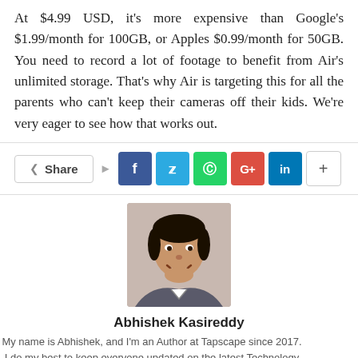At $4.99 USD, it's more expensive than Google's $1.99/month for 100GB, or Apples $0.99/month for 50GB. You need to record a lot of footage to benefit from Air's unlimited storage. That's why Air is targeting this for all the parents who can't keep their cameras off their kids. We're very eager to see how that works out.
[Figure (infographic): Social share bar with Share button, Facebook, Twitter, WhatsApp, Google+, LinkedIn, and more (+) buttons]
[Figure (photo): Author photo of Abhishek Kasireddy, a young man smiling]
Abhishek Kasireddy
My name is Abhishek, and I'm an Author at Tapscape since 2017. I do my best to keep everyone updated on the latest Technology news updates.